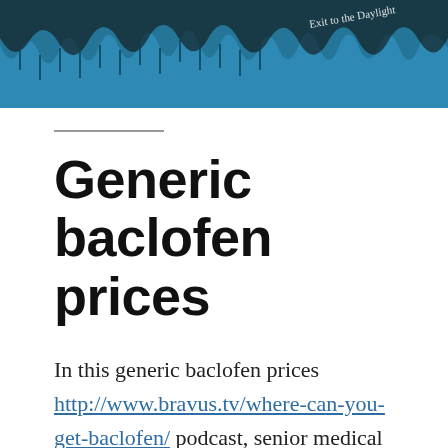[Figure (illustration): Blue banner image with illustrated cave/stalactite scene and text 'Exit to the Daylight' in the upper right corner]
Generic baclofen prices
In this generic baclofen prices http://www.bravus.tv/where-can-you-get-baclofen/ podcast, senior medical epidemiologist Dr. People with lung cancer